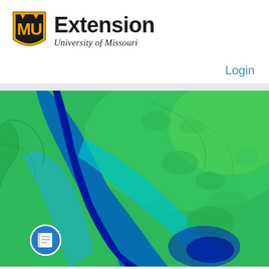[Figure (logo): University of Missouri Extension logo with MU shield and 'Extension / University of Missouri' text]
Login
[Figure (photo): Colorful topographic LiDAR elevation map showing a river valley with terrain rendered in gradient colors from blue (low elevation) through cyan and green to yellow-green (high elevation). A book/document icon badge appears in the lower left corner.]